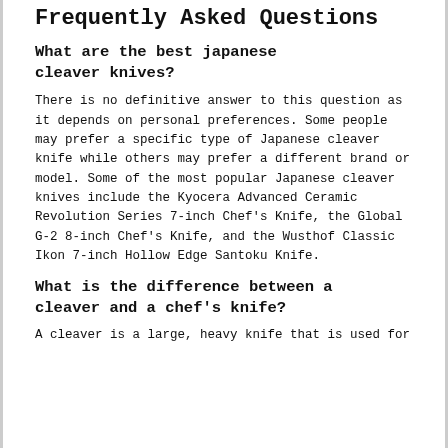Frequently Asked Questions
What are the best japanese cleaver knives?
There is no definitive answer to this question as it depends on personal preferences. Some people may prefer a specific type of Japanese cleaver knife while others may prefer a different brand or model. Some of the most popular Japanese cleaver knives include the Kyocera Advanced Ceramic Revolution Series 7-inch Chef's Knife, the Global G-2 8-inch Chef's Knife, and the Wusthof Classic Ikon 7-inch Hollow Edge Santoku Knife.
What is the difference between a cleaver and a chef's knife?
A cleaver is a large, heavy knife that is used for...